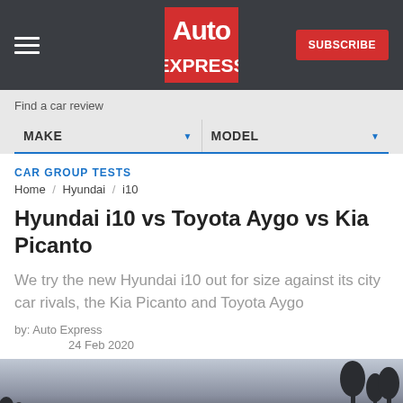Auto Express — SUBSCRIBE
Find a car review
MAKE   MODEL
CAR GROUP TESTS
Home / Hyundai / i10
Hyundai i10 vs Toyota Aygo vs Kia Picanto
We try the new Hyundai i10 out for size against its city car rivals, the Kia Picanto and Toyota Aygo
by: Auto Express
24 Feb 2020
[Figure (photo): Bottom strip showing a twilight sky with silhouettes of trees on the right side]